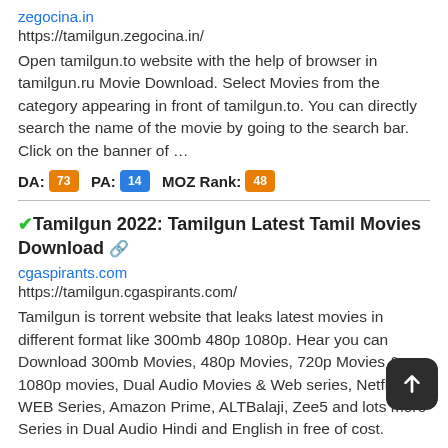zegocina.in
https://tamilgun.zegocina.in/
Open tamilgun.to website with the help of browser in tamilgun.ru Movie Download. Select Movies from the category appearing in front of tamilgun.to. You can directly search the name of the movie by going to the search bar. Click on the banner of …
DA: 73 PA: 14 MOZ Rank: 48
✔Tamilgun 2022: Tamilgun Latest Tamil Movies Download 🔗
cgaspirants.com
https://tamilgun.cgaspirants.com/
Tamilgun is torrent website that leaks latest movies in different format like 300mb 480p 1080p. Hear you can Download 300mb Movies, 480p Movies, 720p Movies & 1080p movies, Dual Audio Movies & Web series, Netflix WEB Series, Amazon Prime, ALTBalaji, Zee5 and lots more Series in Dual Audio Hindi and English in free of cost.
DA: 10 PA: 88 MOZ Rank: 92